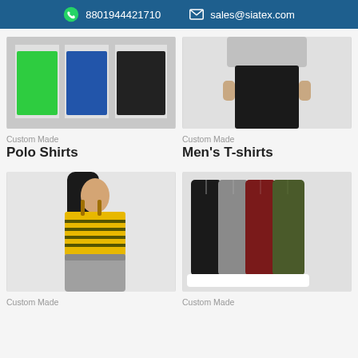8801944421710  sales@siatex.com
[Figure (photo): Polo shirts in green, blue, and black colors folded and stacked on shelves]
Custom Made
Polo Shirts
[Figure (photo): Man wearing black slim fit trousers, torso and legs visible]
Custom Made
Men's T-shirts
[Figure (photo): Woman wearing yellow striped crop top and grey sweatpants]
Custom Made
[Figure (photo): Four pairs of jogger pants in black, grey, burgundy, and olive green colors with white sneakers]
Custom Made